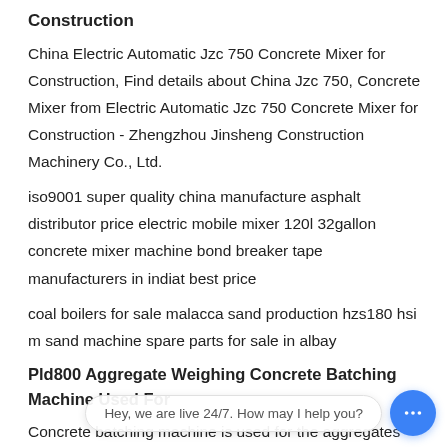Construction
China Electric Automatic Jzc 750 Concrete Mixer for Construction, Find details about China Jzc 750, Concrete Mixer from Electric Automatic Jzc 750 Concrete Mixer for Construction - Zhengzhou Jinsheng Construction Machinery Co., Ltd.
iso9001 super quality china manufacture asphalt distributor price electric mobile mixer 120l 32gallon concrete mixer machine bond breaker tape manufacturers in indiat best price
coal boilers for sale malacca sand production hzs180 hsi m sand machine spare parts for sale in albay
Pld800 Aggregate Weighing Concrete Batching Machine Used For
Concrete batching machine is used for the aggregates batching for concrete mixing station. The aggregates can be 2-4 ty... sand and others. The proportion of each aggregate is